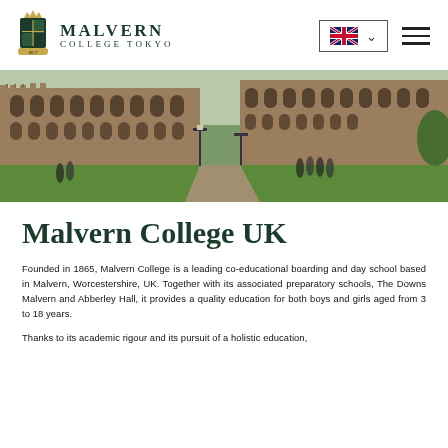[Figure (logo): Malvern College Tokyo logo with crest and text]
[Figure (photo): Exterior photo of Malvern College UK campus buildings with Gothic architecture, green lawns, and students walking]
Malvern College UK
Founded in 1865, Malvern College is a leading co-educational boarding and day school based in Malvern, Worcestershire, UK. Together with its associated preparatory schools, The Downs Malvern and Abberley Hall, it provides a quality education for both boys and girls aged from 3 to 18 years.
Thanks to its academic rigour and its pursuit of a holistic education,